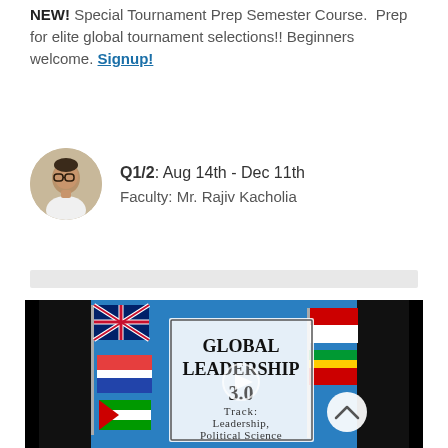NEW! Special Tournament Prep Semester Course. Prep for elite global tournament selections!! Beginners welcome. Signup!
Q1/2: Aug 14th - Dec 11th
Faculty: Mr. Rajiv Kacholia
[Figure (photo): Circular avatar photo of Mr. Rajiv Kacholia, a man wearing glasses]
[Figure (photo): Video thumbnail showing international flags against a blue sky background with a white sign reading GLOBAL LEADERSHIP 3.0 Track: Leadership, Political Science, with a play button overlay and scroll-up chevron button]